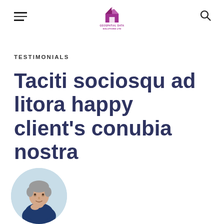Geospatial Data Solutions Ltd — navigation header with hamburger menu, logo, and search icon
TESTIMONIALS
Taciti sociosqu ad litora happy client's conubia nostra
[Figure (photo): Circular cropped portrait photo of a middle-aged man with grey hair wearing a dark blue shirt, resting his chin on his hand, against a light blue background.]